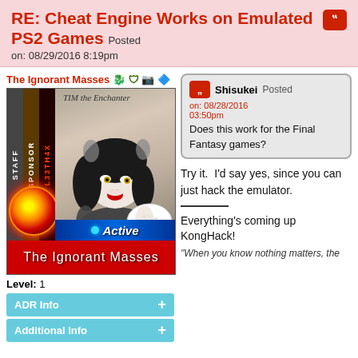RE: Cheat Engine Works on Emulated PS2 Games Posted on: 08/29/2016 8:19pm
The Ignorant Masses
TIM the Enchanter
[Figure (illustration): User avatar for The Ignorant Masses showing anime-style character with black hair, with sidebar labels STAFF, SPONSOR, L33TH4X, globe swirl art, Active status bar, and red name banner.]
Level: 1
ADR Info +
Additional Info +
Shisukei Posted on: 08/28/2016 Does this work for the Final Fantasy games?
Try it.  I'd say yes, since you can just hack the emulator.
Everything's coming up KongHack!
"When you know nothing matters, the